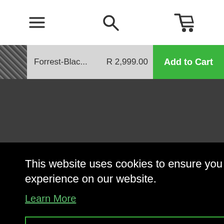[Figure (screenshot): Mobile website navigation bar with hamburger menu, search icon, and shopping cart icon]
Forrest-Blac... R 2,999.00 Add to Cart
[Figure (photo): Dark product image area]
This website uses cookies to ensure you get the best experience on our website. Learn More
Got it!
HELP